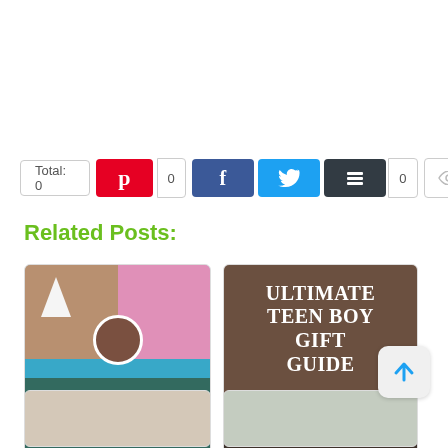[Figure (infographic): Social sharing bar with Total: 0, Pinterest button (red), count 0, Facebook button (dark blue), Twitter button (cyan), Buffer button (dark), count 0, and more/share button]
Related Posts:
[Figure (photo): Post card: Simple Rock Painting Ideas for Kids - collage of painted rocks with shark, monster faces, colorful designs, overlay text]
[Figure (photo): Post card: Ultimate Teen Boy Gift Guide 2021 - holiday themed background with title text overlay]
[Figure (photo): Partially visible post card at bottom left]
[Figure (photo): Partially visible post card at bottom right]